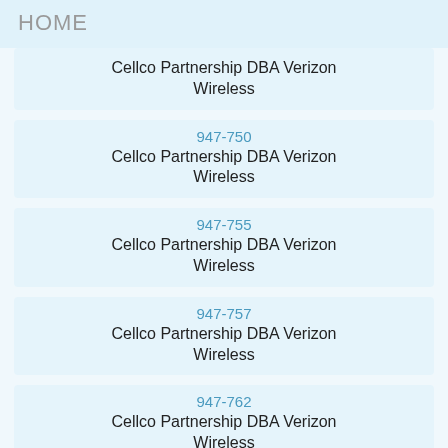HOME
Cellco Partnership DBA Verizon Wireless
947-750
Cellco Partnership DBA Verizon Wireless
947-755
Cellco Partnership DBA Verizon Wireless
947-757
Cellco Partnership DBA Verizon Wireless
947-762
Cellco Partnership DBA Verizon Wireless